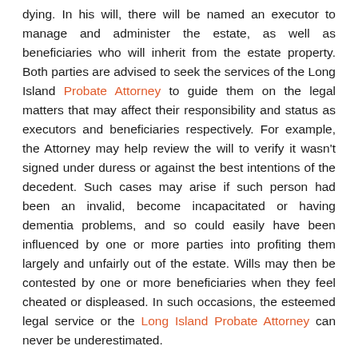dying. In his will, there will be named an executor to manage and administer the estate, as well as beneficiaries who will inherit from the estate property. Both parties are advised to seek the services of the Long Island Probate Attorney to guide them on the legal matters that may affect their responsibility and status as executors and beneficiaries respectively. For example, the Attorney may help review the will to verify it wasn't signed under duress or against the best intentions of the decedent. Such cases may arise if such person had been an invalid, become incapacitated or having dementia problems, and so could easily have been influenced by one or more parties into profiting them largely and unfairly out of the estate. Wills may then be contested by one or more beneficiaries when they feel cheated or displeased. In such occasions, the esteemed legal service or the Long Island Probate Attorney can never be underestimated.
The...